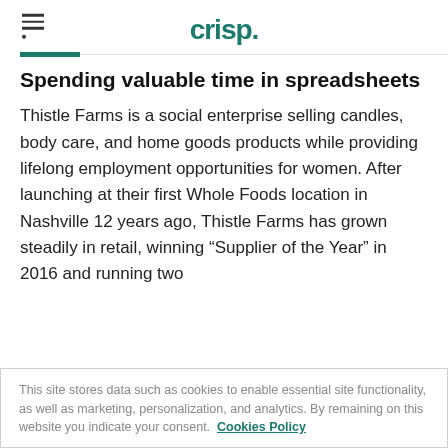crisp.
Spending valuable time in spreadsheets
Thistle Farms is a social enterprise selling candles, body care, and home goods products while providing lifelong employment opportunities for women. After launching at their first Whole Foods location in Nashville 12 years ago, Thistle Farms has grown steadily in retail, winning “Supplier of the Year” in 2016 and running two
This site stores data such as cookies to enable essential site functionality, as well as marketing, personalization, and analytics. By remaining on this website you indicate your consent. Cookies Policy